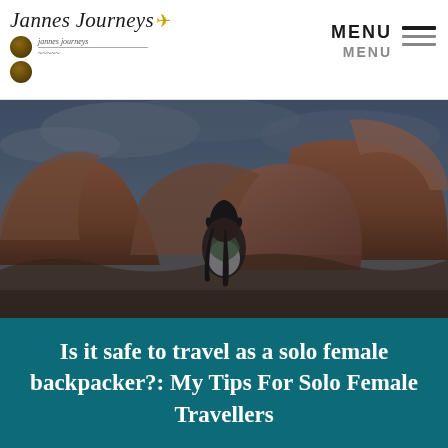Jannes Journeys — MENU
[Figure (photo): Woman standing among large orange-red rock formations under a cloudy sky, looking upward, wearing a white shirt and green jacket]
Is it safe to travel as a solo female backpacker?: My Tips For Solo Female Travellers